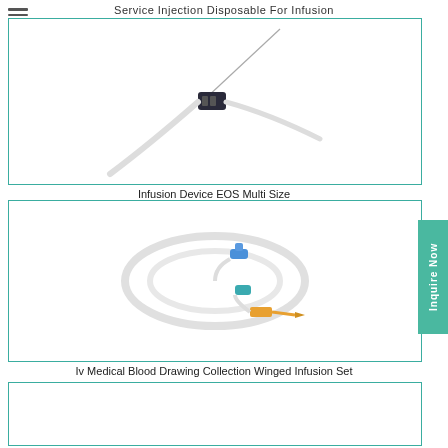Service Injection Disposable For Infusion
[Figure (photo): Infusion Device EOS Multi Size - a medical infusion device with needle and tubing]
Infusion Device EOS Multi Size
[Figure (photo): Iv Medical Blood Drawing Collection Winged Infusion Set - coiled IV infusion tubing set with blue and orange connectors]
Iv Medical Blood Drawing Collection Winged Infusion Set
[Figure (photo): Third product image (partially visible at bottom of page)]